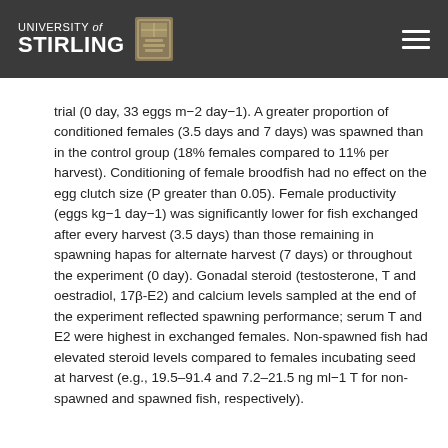UNIVERSITY of STIRLING
trial (0 day, 33 eggs m−2 day−1). A greater proportion of conditioned females (3.5 days and 7 days) was spawned than in the control group (18% females compared to 11% per harvest). Conditioning of female broodfish had no effect on the egg clutch size (P greater than 0.05). Female productivity (eggs kg−1 day−1) was significantly lower for fish exchanged after every harvest (3.5 days) than those remaining in spawning hapas for alternate harvest (7 days) or throughout the experiment (0 day). Gonadal steroid (testosterone, T and oestradiol, 17β-E2) and calcium levels sampled at the end of the experiment reflected spawning performance; serum T and E2 were highest in exchanged females. Non-spawned fish had elevated steroid levels compared to females incubating seed at harvest (e.g., 19.5–91.4 and 7.2–21.5 ng ml−1 T for non-spawned and spawned fish, respectively).